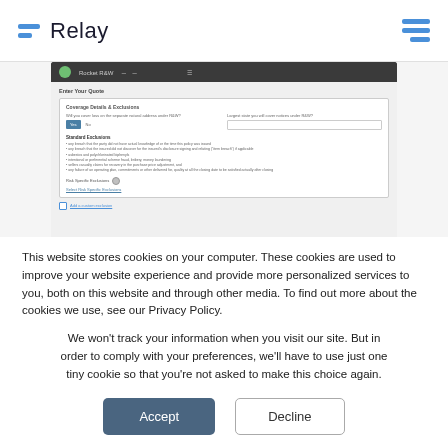[Figure (logo): Relay logo with blue horizontal lines icon and 'Relay' text wordmark]
[Figure (screenshot): Screenshot of Rocket R&W insurance quoting application showing Enter Your Quote form with Coverage Details & Exclusions section, Standard Exclusions list, and Risk Specific Exclusions]
This website stores cookies on your computer. These cookies are used to improve your website experience and provide more personalized services to you, both on this website and through other media. To find out more about the cookies we use, see our Privacy Policy.
We won't track your information when you visit our site. But in order to comply with your preferences, we'll have to use just one tiny cookie so that you're not asked to make this choice again.